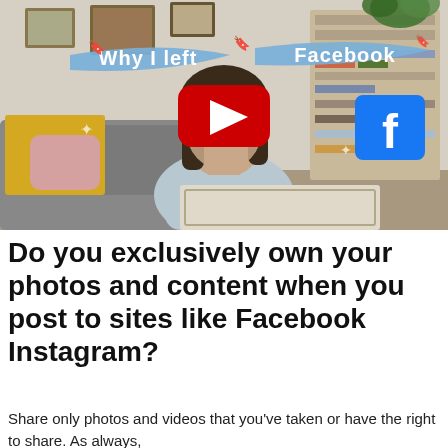[Figure (screenshot): YouTube video thumbnail showing a woman sitting on a couch in a home setting. Text overlays read 'Why I left' and 'Facebook' on blue ribbon banners. A red YouTube play button is centered. A Facebook logo icon appears on the right side of the image.]
Do you exclusively own your photos and content when you post to sites like Facebook Instagram?
Share only photos and videos that you've taken or have the right to share. As always,